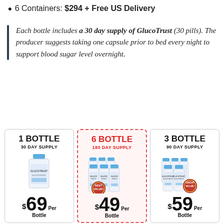6 Containers: $294 + Free US Delivery
Each bottle includes a 30 day supply of GlucoTrust (30 pills). The producer suggests taking one capsule prior to bed every night to support blood sugar level overnight.
[Figure (infographic): Three pricing cards: 1 Bottle 30 Day Supply $69/bottle, 6 Bottle 180 Day Supply $49/bottle (featured/best value), 3 Bottle 90 Day Supply $59/bottle (great value). Each card shows GlucoTrust supplement bottles.]